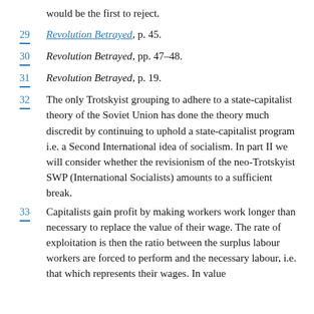would be the first to reject.
29  Revolution Betrayed, p. 45.
30  Revolution Betrayed, pp. 47-48.
31  Revolution Betrayed, p. 19.
32  The only Trotskyist grouping to adhere to a state-capitalist theory of the Soviet Union has done the theory much discredit by continuing to uphold a state-capitalist program i.e. a Second International idea of socialism. In part II we will consider whether the revisionism of the neo-Trotskyist SWP (International Socialists) amounts to a sufficient break.
33  Capitalists gain profit by making workers work longer than necessary to replace the value of their wage. The rate of exploitation is then the ratio between the surplus labour workers are forced to perform and the necessary labour, i.e. that which represents their wages. In value